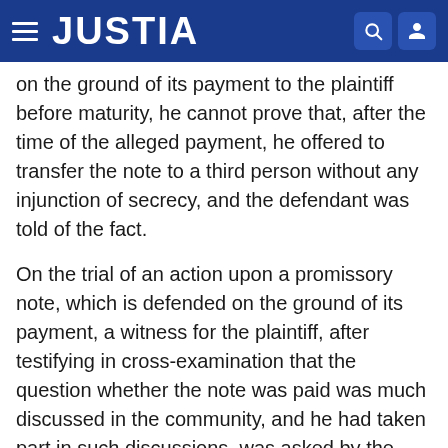JUSTIA
on the ground of its payment to the plaintiff before maturity, he cannot prove that, after the time of the alleged payment, he offered to transfer the note to a third person without any injunction of secrecy, and the defendant was told of the fact.
On the trial of an action upon a promissory note, which is defended on the ground of its payment, a witness for the plaintiff, after testifying in cross-examination that the question whether the note was paid was much discussed in the community, and he had taken part in such discussions, was asked by the defendant what was his theory of the way in which the plaintiff happened to hold the note if it was paid, and answered that he did not give any theory about the note, but supposed, as others did, how a case might come up. Held, that the plaintiff had no ground of exception.